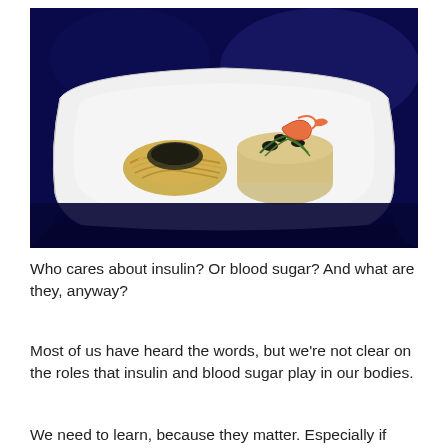[Figure (photo): A white rectangular plate on a dark blue background, holding two food portions: a nest of pasta with dark topping on the left, and a molded rice or risotto dish topped with a shrimp and black olives on the right.]
Who cares about insulin? Or blood sugar? And what are they, anyway?
Most of us have heard the words, but we're not clear on the roles that insulin and blood sugar play in our bodies.
We need to learn, because they matter. Especially if